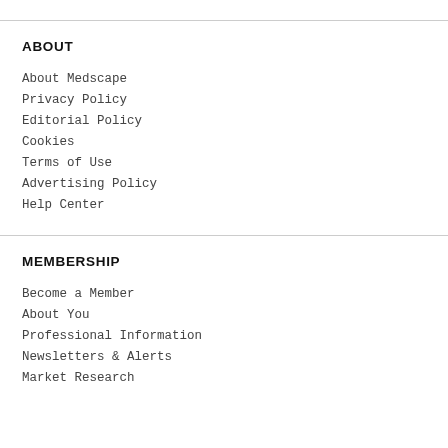ABOUT
About Medscape
Privacy Policy
Editorial Policy
Cookies
Terms of Use
Advertising Policy
Help Center
MEMBERSHIP
Become a Member
About You
Professional Information
Newsletters & Alerts
Market Research